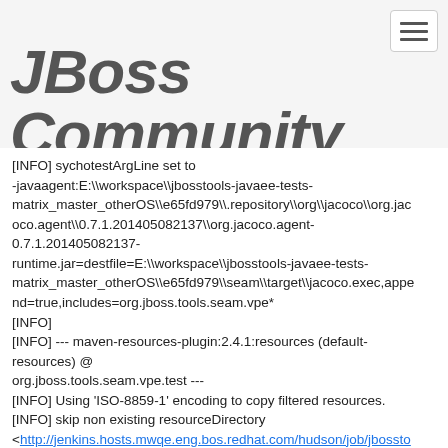JBoss Community
[INFO] sychotestArgLine set to -javaagent:E:\\workspace\\jbosstools-javaee-tests-matrix_master_otherOS\\e65fd979\\.repository\\org\\jacoco\\org.jacoco.agent\\0.7.1.201405082137\\org.jacoco.agent-0.7.1.201405082137-runtime.jar=destfile=E:\\workspace\\jbosstools-javaee-tests-matrix_master_otherOS\\e65fd979\\seam\\target\\jacoco.exec,append=true,includes=org.jboss.tools.seam.vpe*
[INFO]
[INFO] --- maven-resources-plugin:2.4.1:resources (default-resources) @ org.jboss.tools.seam.vpe.test ---
[INFO] Using 'ISO-8859-1' encoding to copy filtered resources.
[INFO] skip non existing resourceDirectory <http://jenkins.hosts.mwqe.eng.bos.redhat.com/hudson/job/jbosstools-javaee...
[INFO]